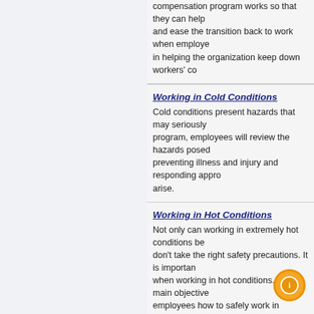compensation program works so that they can help and ease the transition back to work when employees in helping the organization keep down workers' co
Working in Cold Conditions
Cold conditions present hazards that may seriously program, employees will review the hazards posed preventing illness and injury and responding appro arise.
Working in Hot Conditions
Not only can working in extremely hot conditions be don't take the right safety precautions. It is importan when working in hot conditions. The main objective employees how to safely work in extreme heat ...
Working Safely with Corrosives
Corrosives are hazardous materials that can cause precautions. All corrosives share a common chemi their aggressive nature. To prevent accidents and i know how to work safely with corrosives.
Working Safely with Pesticides
Although pesticides are an essential part of modern they are used properly. If you handle pesticides on used, you need to know the precautions you must t